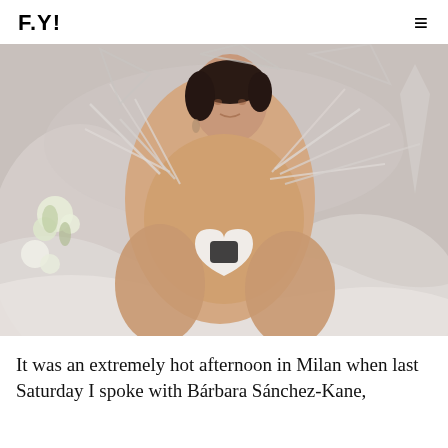F.Y!
[Figure (photo): Fashion editorial photograph of a person with dark slicked-back hair, posing with extremely long acrylic nails holding clear geometric acrylic props/structures, wearing a white heart-shaped accessory, against a silver/satin fabric background with white flowers.]
It was an extremely hot afternoon in Milan when last Saturday I spoke with Bárbara Sánchez-Kane,